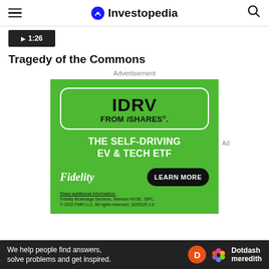Investopedia
[Figure (screenshot): Video thumbnail showing playback time 1:26]
Tragedy of the Commons
Advertisement
[Figure (infographic): Fidelity iShares IDRV advertisement on green background. Shows 'IDRV FROM iSHARES.' in a white rounded rectangle, tagline 'THE SELF-DRIVING EV & TECH ETF', Fidelity logo, and LEARN MORE button. Fine print: 'Read additional information. Fidelity Brokerage Services, Member NYSE, SIPC. © 2022 FMR LLC. All rights reserved. 1035225.1.0']
We help people find answers, solve problems and get inspired. Dotdash meredith